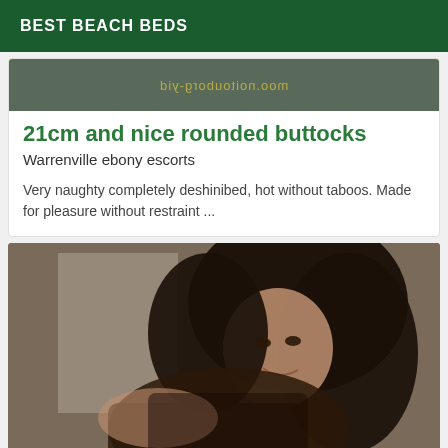BEST BEACH BEDS
[Figure (photo): Partial top image with mirrored watermark text reading 'diy-production.com' on a dark background]
21cm and nice rounded buttocks
Warrenville ebony escorts
Very naughty completely deshinibed, hot without taboos. Made for pleasure without restraint ...
[Figure (photo): Photo of a dark-haired woman in a dark lace top, leaning forward and smiling at the camera]